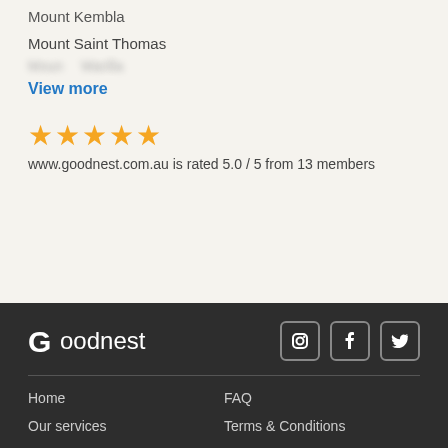Mount Kembla
Mount Saint Thomas
View more
www.goodnest.com.au is rated 5.0 / 5 from 13 members
[Figure (other): Goodnest logo with social media icons for Instagram, Facebook, and Twitter]
Home
FAQ
Our services
Terms & Conditions